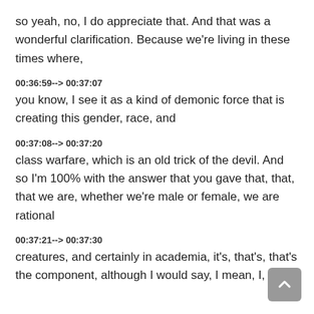so yeah, no, I do appreciate that. And that was a wonderful clarification. Because we're living in these times where,
00:36:59--> 00:37:07
you know, I see it as a kind of demonic force that is creating this gender, race, and
00:37:08--> 00:37:20
class warfare, which is an old trick of the devil. And so I'm 100% with the answer that you gave that, that, that we are, whether we're male or female, we are rational
00:37:21--> 00:37:30
creatures, and certainly in academia, it's, that's, that's the component, although I would say, I mean, I,